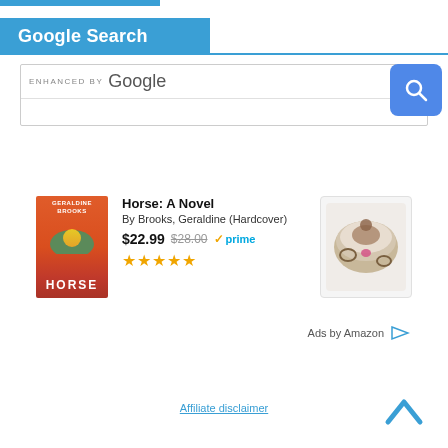Google Search
[Figure (screenshot): Google Search widget with 'ENHANCED BY Google' label and a blue search button with magnifying glass icon]
[Figure (photo): Book cover for 'Horse: A Novel' by Geraldine Brooks, red background]
Horse: A Novel
By Brooks, Geraldine (Hardcover)
$22.99  $28.00  ✓prime
★★★★★
[Figure (photo): Decorative horse jewelry box product image]
Ads by Amazon
Affiliate disclaimer